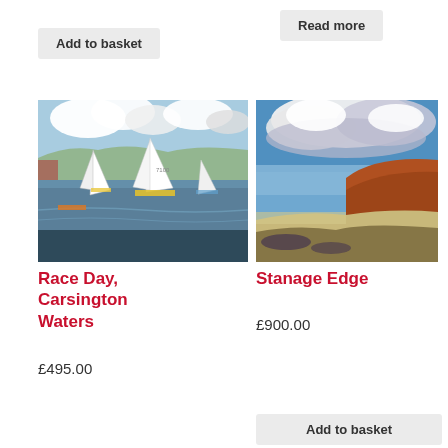Add to basket
Read more
[Figure (illustration): Oil painting of sailing boats racing on water with white sails, blue sky and clouds, and green hills in background – Race Day, Carsington Waters]
Race Day, Carsington Waters
£495.00
[Figure (illustration): Oil painting of moorland landscape with dramatic cloudy sky, russet-coloured hills and muted foreground – Stanage Edge]
Stanage Edge
£900.00
Add to basket